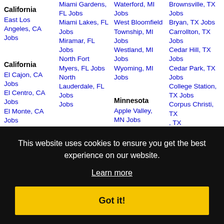California
East Los Angeles, CA Jobs
California
El Cajon, CA Jobs
El Centro, CA Jobs
El Monte, CA Jobs
Miami Gardens, FL Jobs
Miami Lakes, FL Jobs
Miramar, FL Jobs
North Fort Myers, FL Jobs
North Lauderdale, FL Jobs
Waterford, MI Jobs
West Bloomfield Township, MI Jobs
Westland, MI Jobs
Wyoming, MI Jobs
Minnesota
Apple Valley,
Brownsville, TX Jobs
Bryan, TX Jobs
Carrollton, TX Jobs
Cedar Hill, TX Jobs
Cedar Park, TX Jobs
College Station, TX Jobs
Corpus Christi, TX
This website uses cookies to ensure you get the best experience on our website.
Learn more
Got it!
Jobs
Jobs
MN Jobs
Jobs